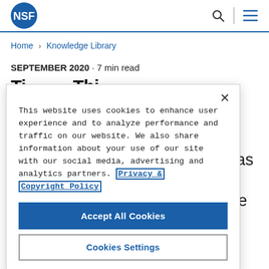NSF logo, search icon, menu icon
Home > Knowledge Library
SEPTEMBER 2020 · 7 min read
This website uses cookies to enhance user experience and to analyze performance and traffic on our website. We also share information about your use of our site with our social media, advertising and analytics partners. Privacy & Copyright Policy
Accept All Cookies
Cookies Settings